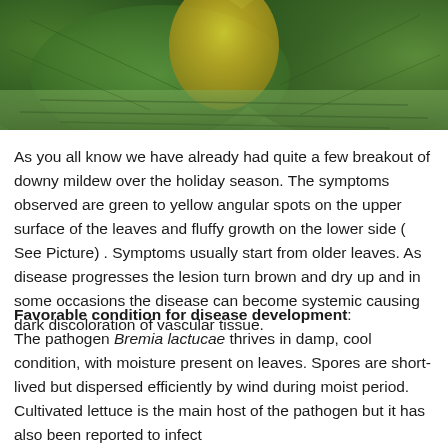[Figure (photo): Close-up photograph of lettuce plants showing green leaves with a yellow/discolored area in the center, indicative of downy mildew disease symptoms]
As you all know we have already had quite a few breakout of downy mildew over the holiday season. The symptoms observed are green to yellow angular spots on the upper surface of the leaves and fluffy growth on the lower side ( See Picture) . Symptoms usually start from older leaves. As disease progresses the lesion turn brown and dry up and in some occasions the disease can become systemic causing dark discoloration of vascular tissue.
Favorable condition for disease development:
The pathogen Bremia lactucae thrives in damp, cool condition, with moisture present on leaves. Spores are short-lived but dispersed efficiently by wind during moist period. Cultivated lettuce is the main host of the pathogen but it has also been reported to infect